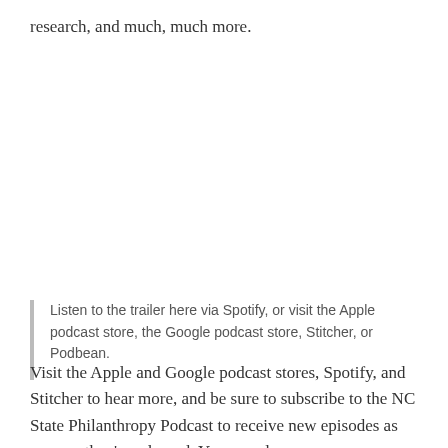research, and much, much more.
Listen to the trailer here via Spotify, or visit the Apple podcast store, the Google podcast store, Stitcher, or Podbean.
Visit the Apple and Google podcast stores, Spotify, and Stitcher to hear more, and be sure to subscribe to the NC State Philanthropy Podcast to receive new episodes as soon as they're released. You can also